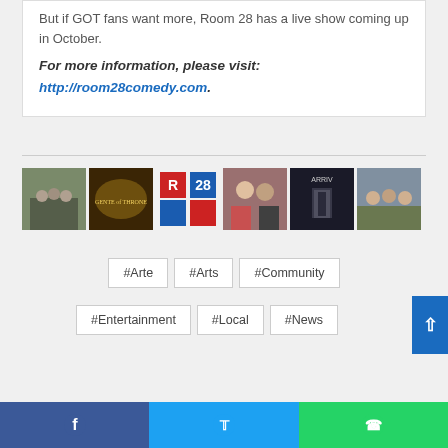But if GOT fans want more, Room 28 has a live show coming up in October.
For more information, please visit: http://room28comedy.com.
[Figure (photo): Row of six thumbnail images: group of people in t-shirts, Game of Thrones styled logo, Room 28 logo in red and blue, two people in dramatic scene, Arrival movie poster-like image, group of people outdoors.]
#Arte
#Arts
#Community
#Entertainment
#Local
#News